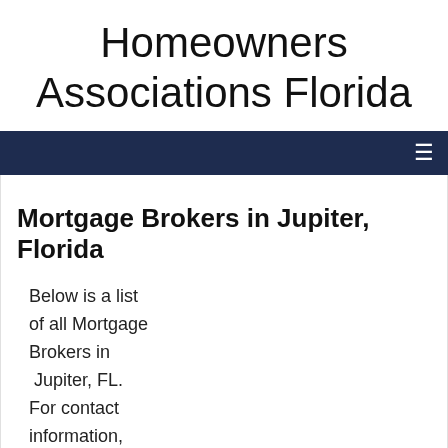Homeowners Associations Florida
Mortgage Brokers in Jupiter, Florida
Below is a list of all Mortgage Brokers in Jupiter, FL. For contact information, click on the "Mortgage Broker Details"